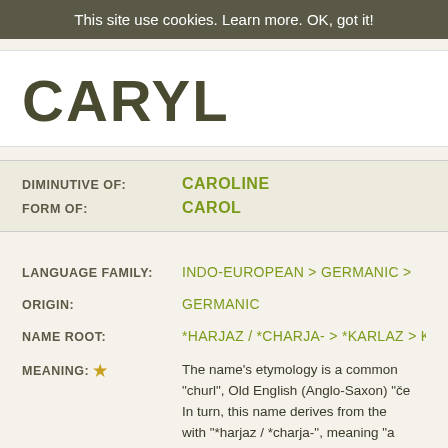This site use cookies. Learn more. OK, got it!
CARYL
| DIMINUTIVE OF: | CAROLINE |
| FORM OF: | CAROL |
LANGUAGE FAMILY: INDO-EUROPEAN > GERMANIC >
ORIGIN: GERMANIC
NAME ROOT: *HARJAZ / *CHARJA- > *KARLAZ > K
MEANING: ★ The name's etymology is a common "churl", Old English (Anglo-Saxon) "če... In turn, this name derives from the with "*harjaz / *charja-", meaning "a influence. The Germanic "H" would b came in. The feminine form Caroline